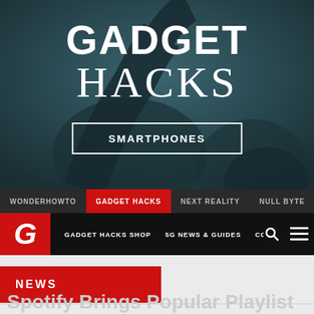[Figure (screenshot): Gadget Hacks website hero image with dark teal background showing two people with dreadlocks, displaying the Gadget Hacks logo and a SMARTPHONES button]
GADGET HACKS
[Figure (screenshot): Navigation bar 1 with links: WONDERHOWTO, GADGET HACKS (active/red), NEXT REALITY, NULL BYTE]
[Figure (screenshot): Navigation bar 2 with red G logo, GADGET HACKS SHOP, 5G NEWS & GUIDES, COMPA... links and search/menu icons]
NEWS
Spotify Brings Popular Playlist to